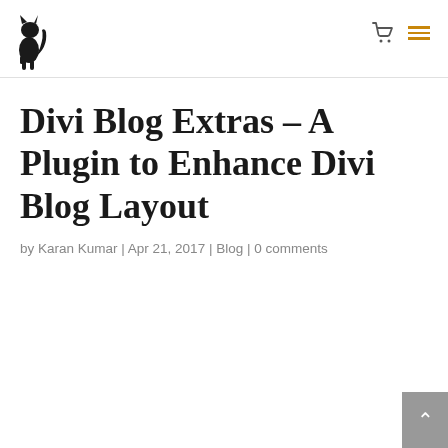[Figure (logo): Black cat logo silhouette]
Divi Blog Extras – A Plugin to Enhance Divi Blog Layout
by Karan Kumar | Apr 21, 2017 | Blog | 0 comments